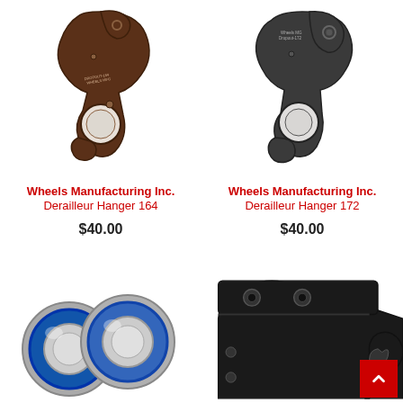[Figure (photo): Wheels Manufacturing Inc. Derailleur Hanger 164 - dark brown/bronze colored metal derailleur hanger with hook shape and large hole, labeled DROPOUT-164 WHEELS MFG]
Wheels Manufacturing Inc.
Derailleur Hanger 164
$40.00
[Figure (photo): Wheels Manufacturing Inc. Derailleur Hanger 172 - dark gray/black colored metal derailleur hanger with hook shape and circular hole, labeled Wheels MG Dropout-172]
Wheels Manufacturing Inc.
Derailleur Hanger 172
$40.00
[Figure (photo): Two blue-sealed metal ball bearings (bearing rings) shown side by side - silver with blue rubber seals]
[Figure (photo): Black metal derailleur hanger/dropout piece with bolt holes and hook shape, partially cropped at right edge]